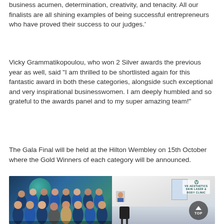business acumen, determination, creativity, and tenacity. All our finalists are all shining examples of being successful entrepreneurs who have proved their success to our judges.'
Vicky Grammatikopoulou, who won 2 Silver awards the previous year as well, said "I am thrilled to be shortlisted again for this fantastic award in both these categories, alongside such exceptional and very inspirational businesswomen. I am deeply humbled and so grateful to the awards panel and to my super amazing team!"
The Gala Final will be held at the Hilton Wembley on 15th October where the Gold Winners of each category will be announced.
[Figure (photo): Left: group photo of medical/aesthetic clinic team members in blue uniforms standing together with a teal circular logo visible. Right: interior of VK Aesthetics clinic showing reception/treatment room with the clinic logo on the wall and a 'TOP' navigation button overlay.]